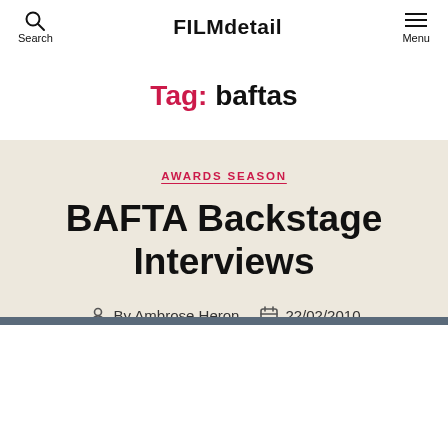Search  FILMdetail  Menu
Tag: baftas
AWARDS SEASON
BAFTA Backstage Interviews
By Ambrose Heron  22/02/2010